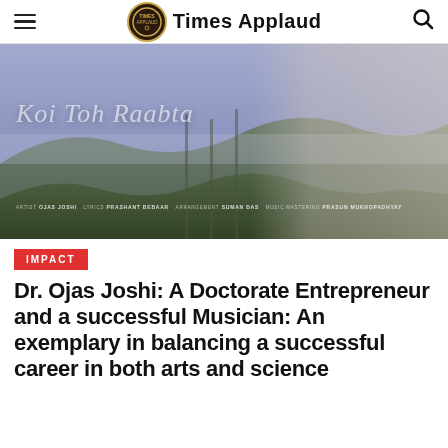Times Applaud
[Figure (photo): Hero image showing a music video thumbnail for 'Koi Toh Raabta' featuring a young man in a white shirt with hilly misty background. Credits shown: Artist Ojas Joshi, Lyrics Prashant Bebaar, Arrangement Suman Das, Music Mastering Prasun Mukhopadhyay.]
IMPACT
Dr. Ojas Joshi: A Doctorate Entrepreneur and a successful Musician: An exemplary in balancing a successful career in both arts and science